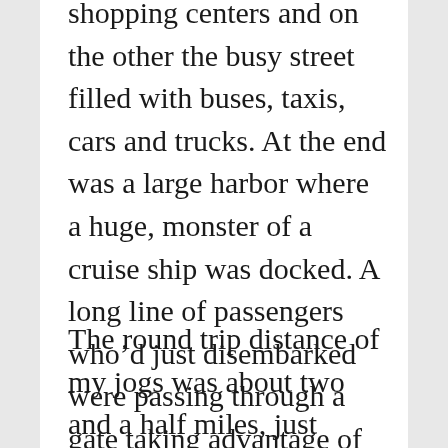shopping centers and on the other the busy street filled with buses, taxis, cars and trucks. At the end was a large harbor where a huge, monster of a cruise ship was docked. A long line of passengers who'd just disembarked were passing through a gate taking advantage of the port of call to do some shopping at the nearby mall. This was my turn-around point.

The round trip distance of my jogs was about two and a half miles, just enough to give me enough exercise